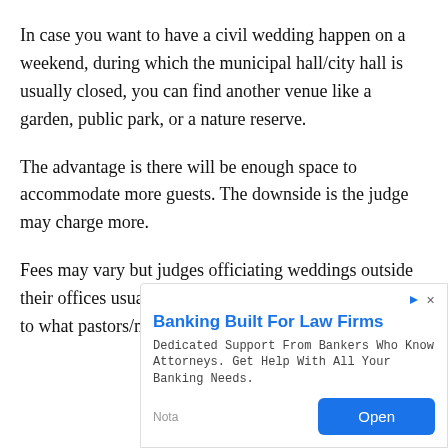In case you want to have a civil wedding happen on a weekend, during which the municipal hall/city hall is usually closed, you can find another venue like a garden, public park, or a nature reserve.
The advantage is there will be enough space to accommodate more guests. The downside is the judge may charge more.
Fees may vary but judges officiating weddings outside their offices usually charge Php 8,000 (or more), similar to what pastors/ministers charge for their
[Figure (other): Advertisement banner for banking services. Title: 'Banking Built For Law Firms'. Description: 'Dedicated Support From Bankers Who Know Attorneys. Get Help With All Your Banking Needs.' With 'Nota' label and 'Open' button.]